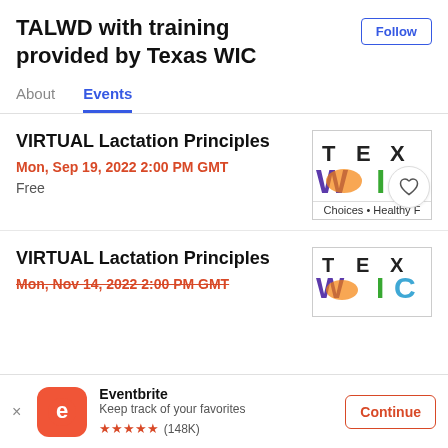TALWD with training provided by Texas WIC
About  Events
VIRTUAL Lactation Principles
Mon, Sep 19, 2022 2:00 PM GMT
Free
[Figure (logo): Texas WIC logo with colorful letters T, E, X, W, I, C and tagline 'Choices • Healthy F']
VIRTUAL Lactation Principles
Mon, Nov 14, 2022 2:00 PM GMT
[Figure (logo): Texas WIC logo partial]
Eventbrite
Keep track of your favorites
★★★★★ (148K)